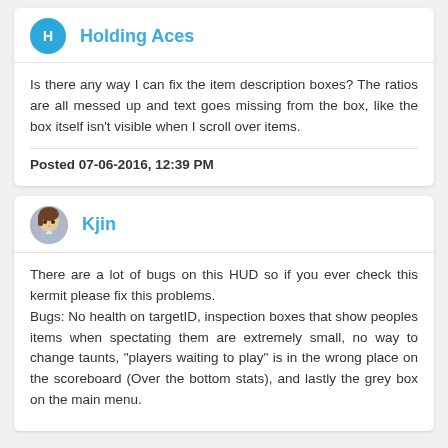Holding Aces
Is there any way I can fix the item description boxes? The ratios are all messed up and text goes missing from the box, like the box itself isn't visible when I scroll over items.
Posted 07-06-2016, 12:39 PM
Kjin
There are a lot of bugs on this HUD so if you ever check this kermit please fix this problems.
Bugs: No health on targetID, inspection boxes that show peoples items when spectating them are extremely small, no way to change taunts, "players waiting to play" is in the wrong place on the scoreboard (Over the bottom stats), and lastly the grey box on the main menu.